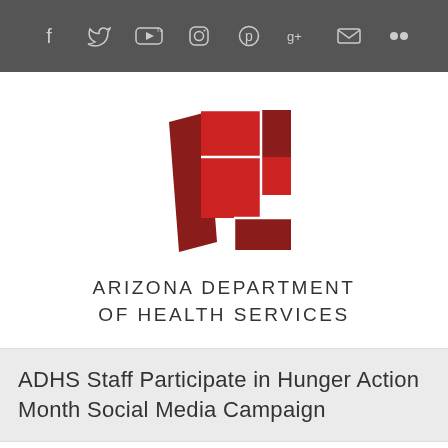Social media icons: Facebook, Twitter, YouTube, Instagram, Pinterest, Google+, Email, Flickr
[Figure (logo): Arizona Department of Health Services logo — geometric red and dark red rectangular shapes forming an abstract 'A' or flag shape]
ARIZONA DEPARTMENT OF HEALTH SERVICES
ADHS Staff Participate in Hunger Action Month Social Media Campaign
< Previous   Next >